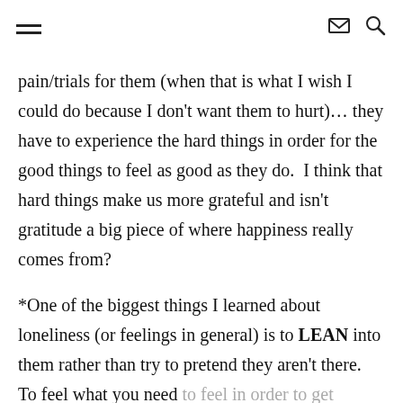navigation header with hamburger menu, mail icon, and search icon
pain/trials for them (when that is what I wish I could do because I don't want them to hurt)… they have to experience the hard things in order for the good things to feel as good as they do.  I think that hard things make us more grateful and isn't gratitude a big piece of where happiness really comes from?
*One of the biggest things I learned about loneliness (or feelings in general) is to LEAN into them rather than try to pretend they aren't there.  To feel what you need to feel in order to get through it and learn a thing or two about yourself.  The thing about feelings is they